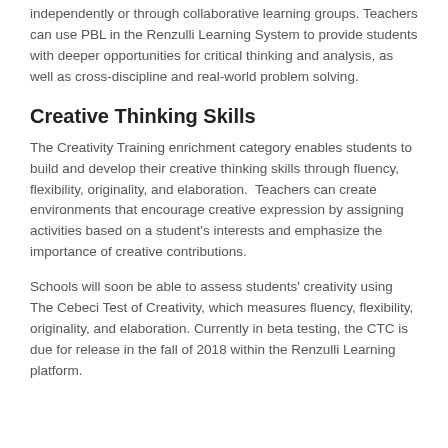independently or through collaborative learning groups. Teachers can use PBL in the Renzulli Learning System to provide students with deeper opportunities for critical thinking and analysis, as well as cross-discipline and real-world problem solving.
Creative Thinking Skills
The Creativity Training enrichment category enables students to build and develop their creative thinking skills through fluency, flexibility, originality, and elaboration.  Teachers can create environments that encourage creative expression by assigning activities based on a student's interests and emphasize the importance of creative contributions.
Schools will soon be able to assess students' creativity using The Cebeci Test of Creativity, which measures fluency, flexibility, originality, and elaboration. Currently in beta testing, the CTC is due for release in the fall of 2018 within the Renzulli Learning platform.